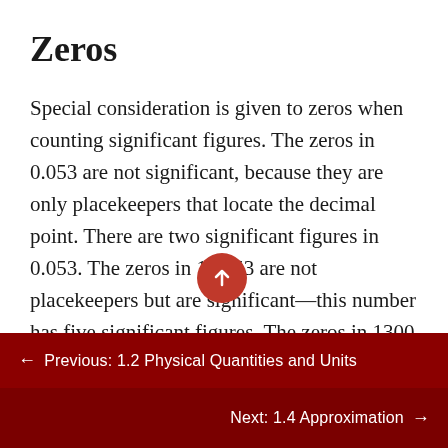Zeros
Special consideration is given to zeros when counting significant figures. The zeros in 0.053 are not significant, because they are only placekeepers that locate the decimal point. There are two significant figures in 0.053. The zeros in 10.053 are not placekeepers but are significant—this number has five significant figures. The zeros in 1300 may or may not be significant depending on the style of writing numbers. They could mean the number is
← Previous: 1.2 Physical Quantities and Units
Next: 1.4 Approximation →